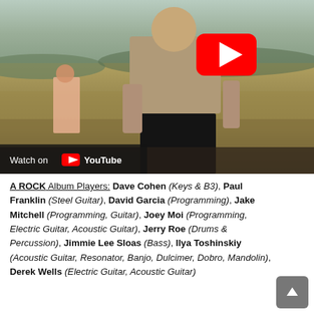[Figure (photo): Outdoor photo of two people in a field/rural landscape. A woman in a pink top and ripped jeans stands in the background on a rock, and a man in a tan shirt and black pants stands in the foreground. A YouTube play button is overlaid in the upper right. A 'Watch on YouTube' bar appears at the bottom left.]
A ROCK Album Players: Dave Cohen (Keys & B3), Paul Franklin (Steel Guitar), David Garcia (Programming), Jake Mitchell (Programming, Guitar), Joey Moi (Programming, Electric Guitar, Acoustic Guitar), Jerry Roe (Drums & Percussion), Jimmie Lee Sloas (Bass), Ilya Toshinskiy (Acoustic Guitar, Resonator, Banjo, Dulcimer, Dobro, Mandolin), Derek Wells (Electric Guitar, Acoustic Guitar)